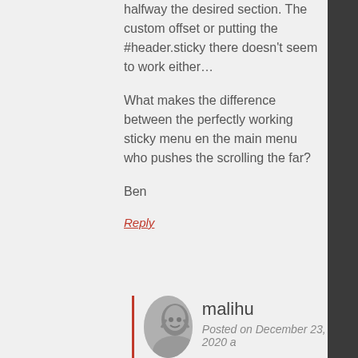halfway the desired section. The custom offset or putting the #header.sticky there doesn't seem to work either…
What makes the difference between the perfectly working sticky menu en the main menu who pushes the scrolling the far?
Ben
Reply
malihu
Posted on December 23, 2020 a
Hi,
The difference in scrolling ha